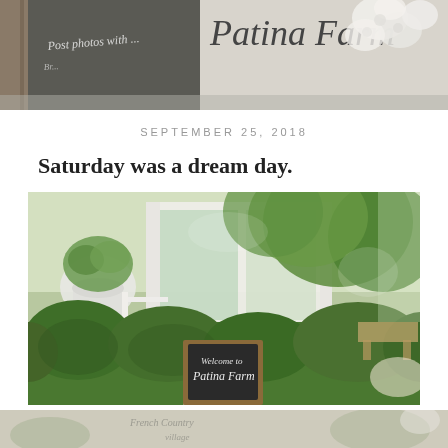[Figure (photo): Top banner photo showing a chalkboard sign with 'Patina Farm' in italic script, white flowers in the upper right corner]
SEPTEMBER 25, 2018
Saturday was a dream day.
[Figure (photo): Outdoor garden photo at Patina Farm showing lush green boxwood hedges, potted plant in white urn, white porch/building in background, and a chalkboard A-frame sign reading 'Welcome to Patina Farm']
[Figure (photo): Bottom partial photo strip showing faded garden/farm scene with text visible reading 'French Country' and 'village']